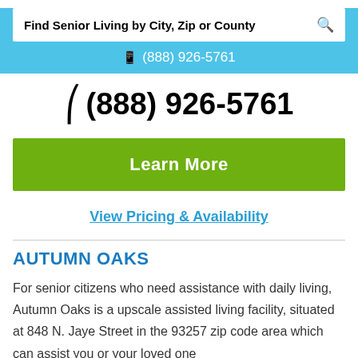Find Senior Living by City, Zip or County
(888) 926-5761
(888) 926-5761
Learn More
View Pricing & Availability
AUTUMN OAKS
For senior citizens who need assistance with daily living, Autumn Oaks is a upscale assisted living facility, situated at 848 N. Jaye Street in the 93257 zip code area which can assist you or your loved one